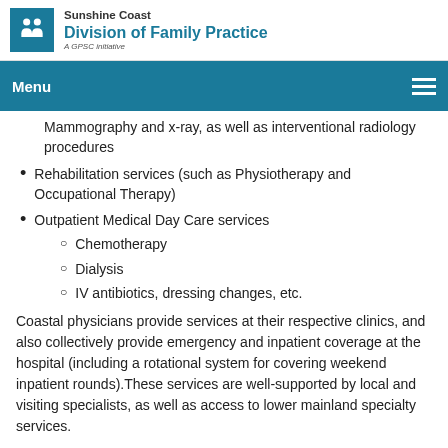Sunshine Coast Division of Family Practice — A GPSC initiative
Mammography and x-ray, as well as interventional radiology procedures
Rehabilitation services (such as Physiotherapy and Occupational Therapy)
Outpatient Medical Day Care services
Chemotherapy
Dialysis
IV antibiotics, dressing changes, etc.
Coastal physicians provide services at their respective clinics, and also collectively provide emergency and inpatient coverage at the hospital (including a rotational system for covering weekend inpatient rounds).These services are well-supported by local and visiting specialists, as well as access to lower mainland specialty services.